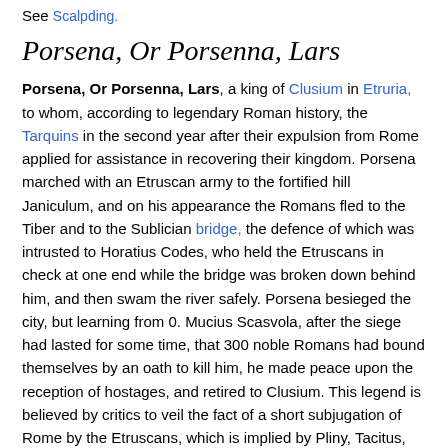See Scalpding.
Porsena, Or Porsenna, Lars
Porsena, Or Porsenna, Lars, a king of Clusium in Etruria, to whom, according to legendary Roman history, the Tarquins in the second year after their expulsion from Rome applied for assistance in recovering their kingdom. Porsena marched with an Etruscan army to the fortified hill Janiculum, and on his appearance the Romans fled to the Tiber and to the Sublician bridge, the defence of which was intrusted to Horatius Codes, who held the Etruscans in check at one end while the bridge was broken down behind him, and then swam the river safely. Porsena besieged the city, but learning from 0. Mucius Scasvola, after the siege had lasted for some time, that 300 noble Romans had bound themselves by an oath to kill him, he made peace upon the reception of hostages, and retired to Clusium. This legend is believed by critics to veil the fact of a short subjugation of Rome by the Etruscans, which is implied by Pliny, Tacitus, and other writers.
Port Elizabeth